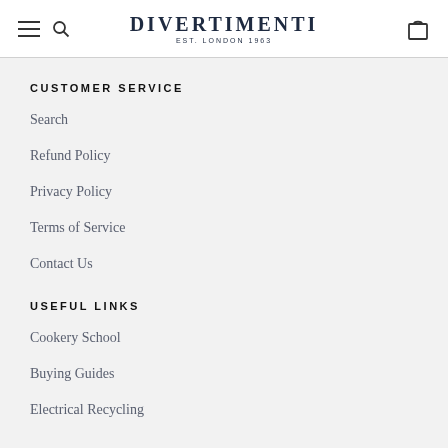DIVERTIMENTI EST. LONDON 1963
CUSTOMER SERVICE
Search
Refund Policy
Privacy Policy
Terms of Service
Contact Us
USEFUL LINKS
Cookery School
Buying Guides
Electrical Recycling